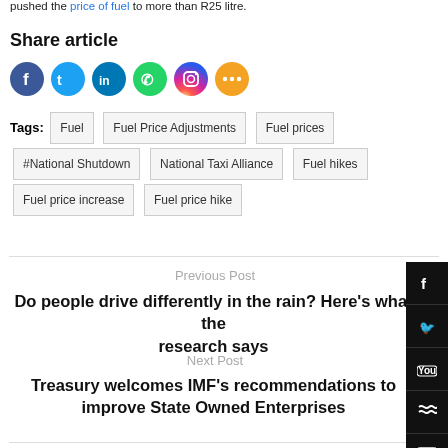pushed the price of fuel to more than R25 litre.
Share article
[Figure (infographic): Social media share buttons: Facebook, Twitter, LinkedIn, WhatsApp, Instagram, share icon]
Tags: Fuel  Fuel Price Adjustments  Fuel prices  #National Shutdown  National Taxi Alliance  Fuel hikes  Fuel price increase  Fuel price hike
Previous Post
Do people drive differently in the rain? Here's what the research says
Next Post
Treasury welcomes IMF's recommendations to improve State Owned Enterprises